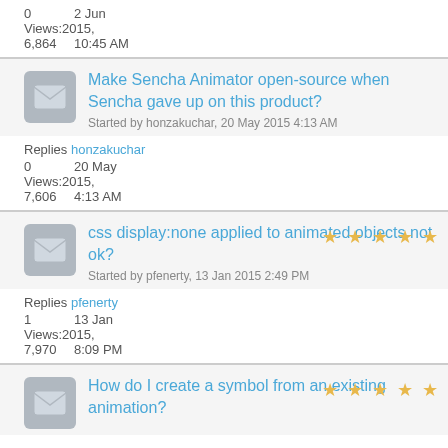0   2 Jun
Views:2015,
6,864  10:45 AM
Make Sencha Animator open-source when Sencha gave up on this product?
Started by honzakuchar, 20 May 2015 4:13 AM
Replies honzakuchar
0   20 May
Views:2015,
7,606  4:13 AM
css display:none applied to animated objects not ok?
Started by pfenerty, 13 Jan 2015 2:49 PM
Replies pfenerty
1   13 Jan
Views:2015,
7,970  8:09 PM
How do I create a symbol from an existing animation?